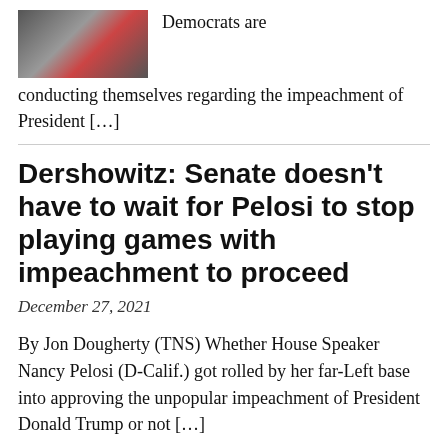[Figure (photo): Thumbnail photo of a person, appears to be a political figure, partially visible]
Democrats are conducting themselves regarding the impeachment of President […]
Dershowitz: Senate doesn't have to wait for Pelosi to stop playing games with impeachment to proceed
December 27, 2021
By Jon Dougherty (TNS) Whether House Speaker Nancy Pelosi (D-Calif.) got rolled by her far-Left base into approving the unpopular impeachment of President Donald Trump or not […]